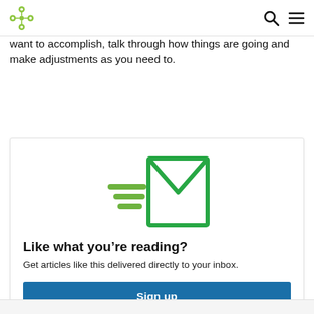want to accomplish, talk through how things are going and make adjustments as you need to.
[Figure (illustration): Green envelope icon with speed lines indicating fast delivery]
Like what you’re reading?
Get articles like this delivered directly to your inbox.
Sign up